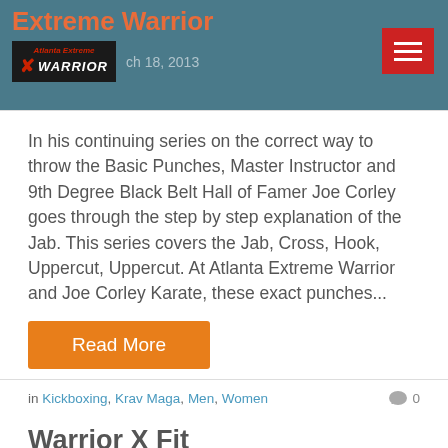Extreme Warrior — March 18, 2013
[Figure (logo): Atlanta Extreme Warrior logo — black background with red stylized icon and white WARRIOR text in italic]
In his continuing series on the correct way to throw the Basic Punches, Master Instructor and 9th Degree Black Belt Hall of Famer Joe Corley goes through the step by step explanation of the Jab. This series covers the Jab, Cross, Hook, Uppercut, Uppercut. At Atlanta Extreme Warrior and Joe Corley Karate, these exact punches...
Read More
in Kickboxing, Krav Maga, Men, Women
0
Warrior X Fit